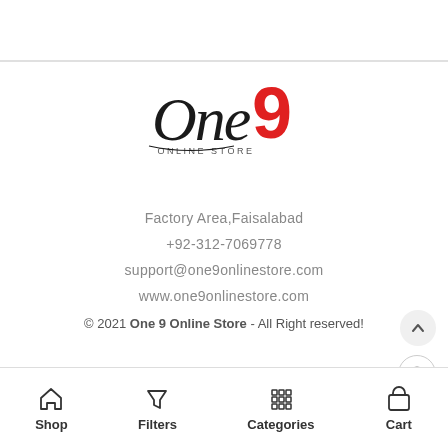[Figure (logo): One9 Online Store logo — stylized 'One' in black cursive with a large red '9', and 'ONLINE STORE' text below]
Factory Area,Faisalabad
+92-312-7069778
support@one9onlinestore.com
www.one9onlinestore.com
© 2021 One 9 Online Store - All Right reserved!
Shop  Filters  Categories  Cart